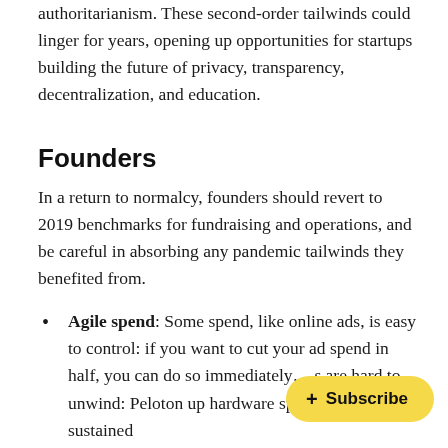authoritarianism. These second-order tailwinds could linger for years, opening up opportunities for startups building the future of privacy, transparency, decentralization, and education.
Founders
In a return to normalcy, founders should revert to 2019 benchmarks for fundraising and operations, and be careful in absorbing any pandemic tailwinds they benefited from.
Agile spend: Some spend, like online ads, is easy to control: if you want to cut your ad spend in half, you can do so immediatel... are hard to unwind: Peloton ... up hardware spend assumed a sustained